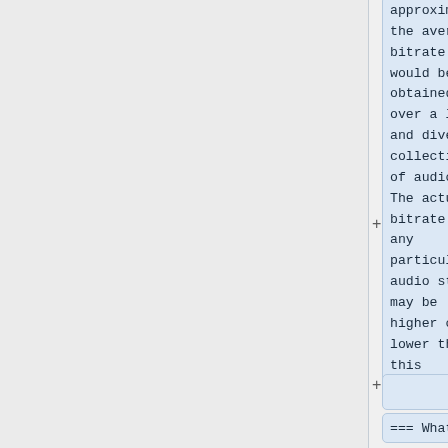approximate the average bitrate that would be obtained over a large and diverse collection of audio. The actual bitrate of any particular audio stream may be higher or lower than this average.
=== What